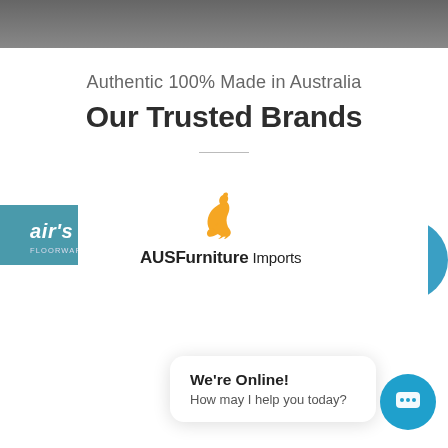[Figure (photo): Top portion of a photo showing people or furniture, cropped at top edge]
Authentic 100% Made in Australia
Our Trusted Brands
[Figure (logo): Partially visible Lair's brand logo on teal/blue background]
[Figure (logo): AUS Furniture Imports logo with orange kangaroo silhouette above text]
[Figure (logo): Partial blue circular logo on right edge]
We're Online!
How may I help you today?